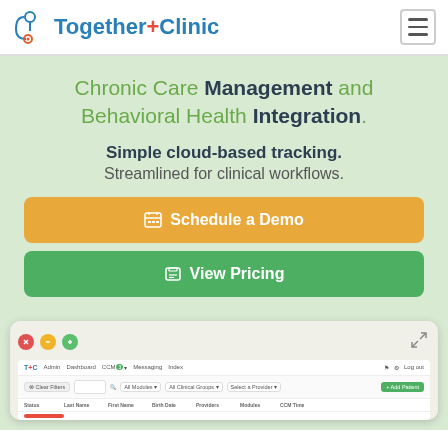Together+Clinic
Chronic Care Management and Behavioral Health Integration.
Simple cloud-based tracking. Streamlined for clinical workflows.
Schedule a Demo
View Pricing
[Figure (screenshot): Screenshot of the Together+Clinic web application showing Admin, Dashboard, CCM, Messaging, Index navigation tabs, a filter bar with Clear Filters, search, All Modules, All Clinical Groups, Select a Provider dropdowns, an Add Patient button, and a patient table with columns: Status, Last Name, First Name, Birth Date, Providers, Modules, CCM Time]